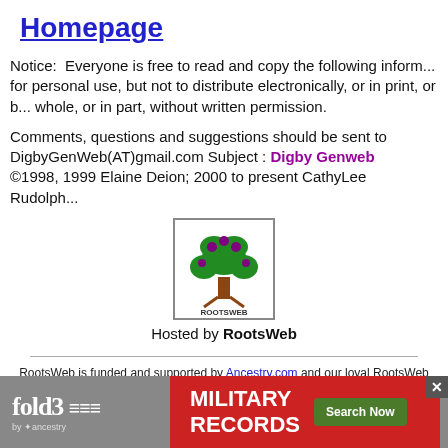Homepage
Notice:  Everyone is free to read and copy the following information for personal use, but not to distribute electronically, or in print, or by whole, or in part, without written permission.
Comments, questions and suggestions should be sent to DigbyGenWeb(AT)gmail.com Subject : Digby Genweb
©1998, 1999 Elaine Deion; 2000 to present CathyLee Rudolph
[Figure (logo): RootsWeb logo: tree with purple leaves and brown trunk, text ROOTSWEB below]
Hosted by RootsWeb
RootsWeb is funded and supported by Ancestry.com and our loyal RootsWeb community. Learn more.
About Us | Contact Us | Copyright | Report Inappropriate Material
Corporate Information | Privacy | Terms and Conditions | CCPA Notice at Collection
[Figure (screenshot): fold3 Military Records advertisement banner with search button]